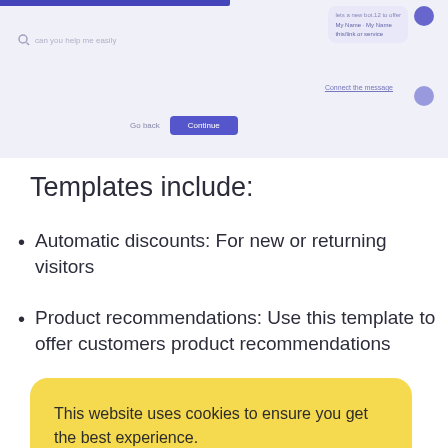[Figure (screenshot): Partial screenshot of a chat/web application interface showing a search bar, chat bubbles, navigation buttons (Go back, Continue) on a light purple/white background with a blue top bar.]
Templates include:
Automatic discounts: For new or returning visitors
Product recommendations: Use this template to offer customers product recommendations
[partially obscured] ...rs ...n
Upsales: Encourage customers to check out
[Figure (screenshot): Cookie consent banner with yellow background reading 'This website uses cookies to ensure you get the best experience.' with 'Learn more' and 'OK' buttons.]